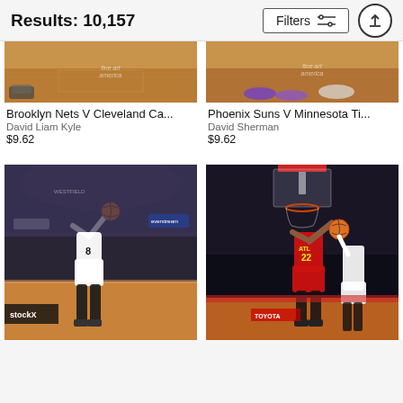Results: 10,157
[Figure (screenshot): Partial cropped basketball court photo - Brooklyn Nets V Cleveland Cavaliers, with fine art america watermark]
Brooklyn Nets V Cleveland Ca...
David Liam Kyle
$9.62
[Figure (screenshot): Partial cropped basketball court photo - Phoenix Suns V Minnesota Timberwolves, with fine art america watermark]
Phoenix Suns V Minnesota Ti...
David Sherman
$9.62
[Figure (photo): Basketball player wearing #8 Brooklyn Nets jersey shooting in an arena with stockX advertising visible]
[Figure (photo): Atlanta Hawks player #22 driving to the basket against Los Angeles Lakers defenders in a crowded arena]